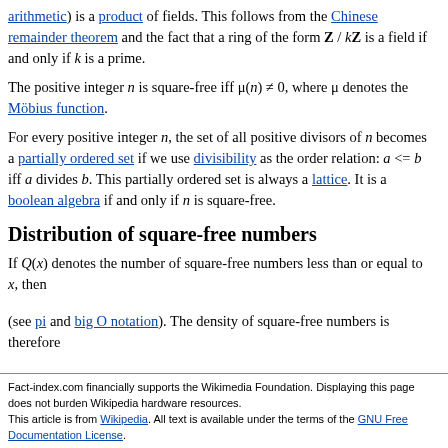arithmetic) is a product of fields. This follows from the Chinese remainder theorem and the fact that a ring of the form Z / kZ is a field if and only if k is a prime.
The positive integer n is square-free iff μ(n) ≠ 0, where μ denotes the Möbius function.
For every positive integer n, the set of all positive divisors of n becomes a partially ordered set if we use divisibility as the order relation: a <= b iff a divides b. This partially ordered set is always a lattice. It is a boolean algebra if and only if n is square-free.
Distribution of square-free numbers
If Q(x) denotes the number of square-free numbers less than or equal to x, then
(see pi and big O notation). The density of square-free numbers is therefore
Fact-index.com financially supports the Wikimedia Foundation. Displaying this page does not burden Wikipedia hardware resources. This article is from Wikipedia. All text is available under the terms of the GNU Free Documentation License.